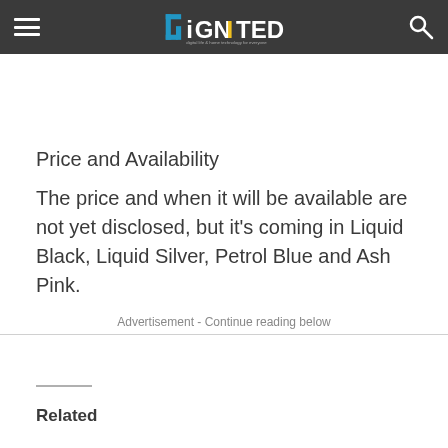IGNITED
Price and Availability
The price and when it will be available are not yet disclosed, but it's coming in Liquid Black, Liquid Silver, Petrol Blue and Ash Pink.
Advertisement - Continue reading below
Related